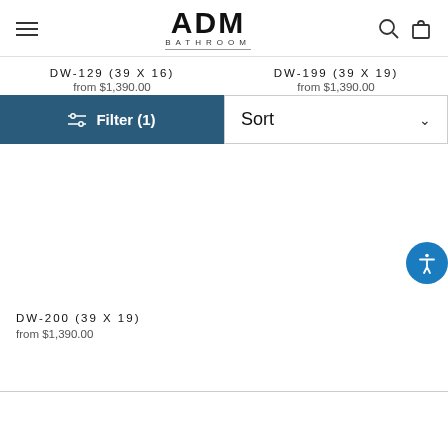ADM BATHROOM
DW-129 (39 X 16)
from $1,390.00
DW-199 (39 X 19)
from $1,390.00
Filter (1)
Sort
[Figure (other): Empty product image area]
[Figure (other): Empty product image area]
DW-200 (39 X 19)
from $1,390.00